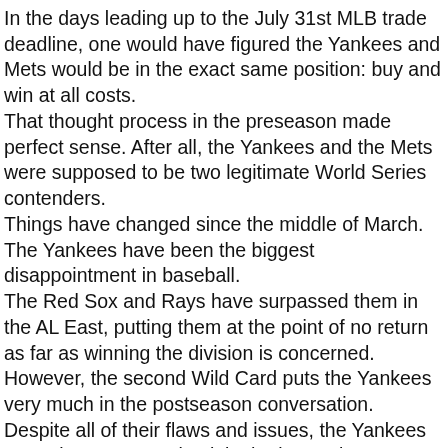In the days leading up to the July 31st MLB trade deadline, one would have figured the Yankees and Mets would be in the exact same position: buy and win at all costs. That thought process in the preseason made perfect sense. After all, the Yankees and the Mets were supposed to be two legitimate World Series contenders. Things have changed since the middle of March. The Yankees have been the biggest disappointment in baseball. The Red Sox and Rays have surpassed them in the AL East, putting them at the point of no return as far as winning the division is concerned. However, the second Wild Card puts the Yankees very much in the postseason conversation. Despite all of their flaws and issues, the Yankees are only two games back in the loss column behind the Oakland A's for the final postseason spot in the American League. So how exactly do you handle the trade deadline? The Yankees are not going to sell off assets considering they are within striking distance of the postseason, but considering their